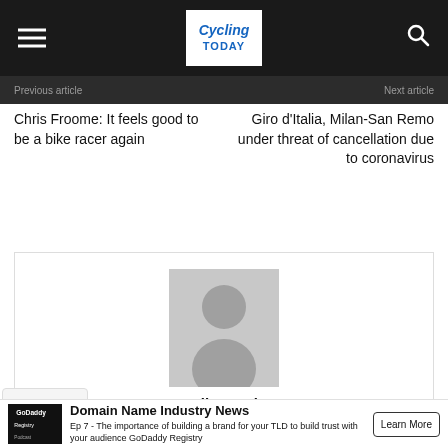Cycling Today
Previous article
Next article
Chris Froome: It feels good to be a bike racer again
Giro d'Italia, Milan-San Remo under threat of cancellation due to coronavirus
[Figure (illustration): Default user avatar placeholder image (grey silhouette of a person on grey background)]
Cycling Today
Domain Name Industry News
Ep 7 - The importance of building a brand for your TLD to build trust with your audience GoDaddy Registry